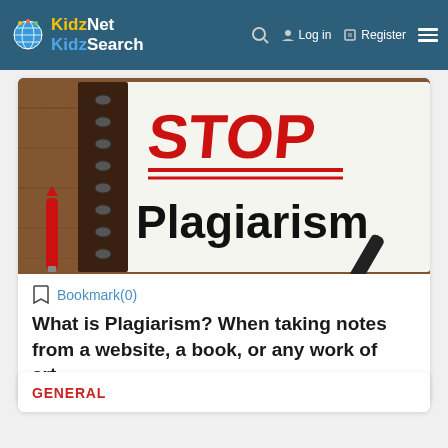KidzNet KidzSearch — Log in  Register
[Figure (photo): Notebook with 'STOP Plagiarism' written in red and black marker, with a red pen on a wooden desk background]
Bookmark(0)
What is Plagiarism? When taking notes from a website, a book, or any work of art...
GENERAL